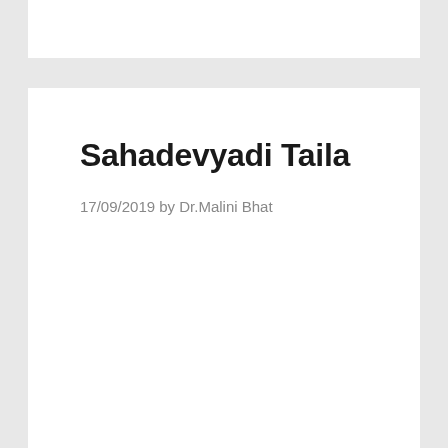Sahadevyadi Taila
17/09/2019 by Dr.Malini Bhat